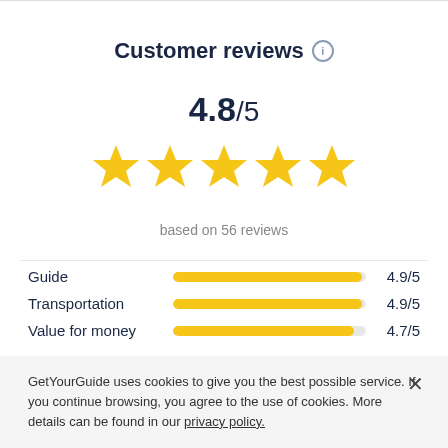Customer reviews ℹ
4.8/5
[Figure (infographic): 5 gold stars rating display]
based on 56 reviews
| Category | Bar | Score |
| --- | --- | --- |
| Guide |  | 4.9/5 |
| Transportation |  | 4.9/5 |
| Value for money |  | 4.7/5 |
GetYourGuide uses cookies to give you the best possible service. If you continue browsing, you agree to the use of cookies. More details can be found in our privacy policy.